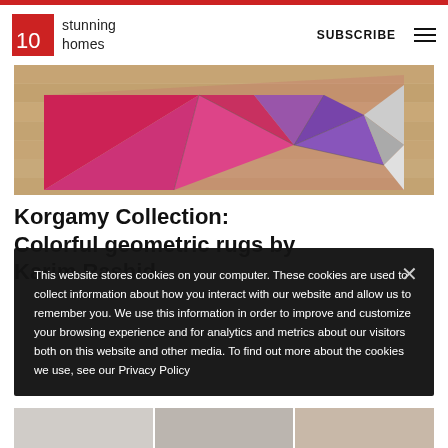stunning homes — SUBSCRIBE ☰
[Figure (photo): Colorful geometric rug with pink, purple, gray and white triangular pattern on wooden floor]
Korgamy Collection: Colorful geometric rugs by Karim Rashid
This website stores cookies on your computer. These cookies are used to collect information about how you interact with our website and allow us to remember you. We use this information in order to improve and customize your browsing experience and for analytics and metrics about our visitors both on this website and other media. To find out more about the cookies we use, see our Privacy Policy
[Figure (photo): Bottom image strip showing interior scenes]